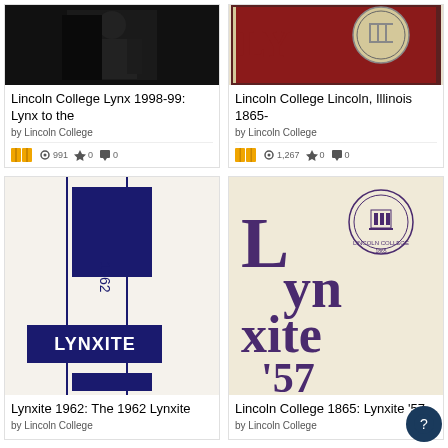[Figure (photo): Cover of Lincoln College Lynx 1998-99 yearbook — dark silhouette photo]
Lincoln College Lynx 1998-99: Lynx to the
by Lincoln College
[Figure (photo): Cover of Lincoln College Lincoln, Illinois yearbook 1865 — emblem/seal on cover]
Lincoln College Lincoln, Illinois 1865-
by Lincoln College
[Figure (photo): Cover of Lynxite 1962 yearbook — geometric design with LYNXITE text and 1962]
Lynxite 1962: The 1962 Lynxite
by Lincoln College
[Figure (photo): Cover of Lincoln College 1865: Lynxite '57 yearbook — purple stylized lettering]
Lincoln College 1865: Lynxite '57
by Lincoln College